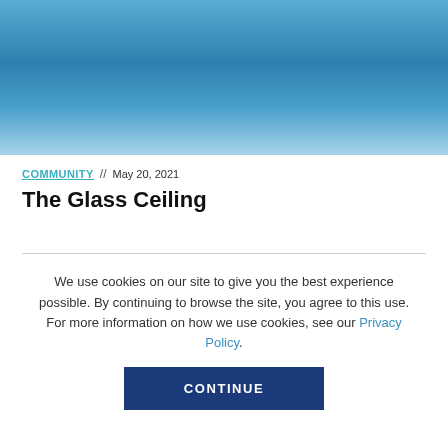[Figure (photo): Blue sky gradient hero image at the top of an article page]
COMMUNITY // May 20, 2021
The Glass Ceiling
We use cookies on our site to give you the best experience possible. By continuing to browse the site, you agree to this use. For more information on how we use cookies, see our Privacy Policy.
CONTINUE